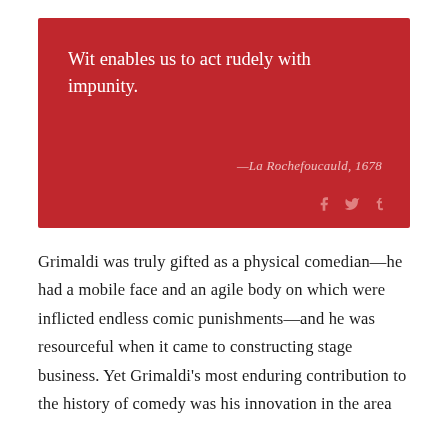[Figure (other): Red quote box containing the quote 'Wit enables us to act rudely with impunity.' attributed to La Rochefoucauld, 1678, with social sharing icons (Facebook, Twitter, Tumblr) at bottom right]
Grimaldi was truly gifted as a physical comedian—he had a mobile face and an agile body on which were inflicted endless comic punishments—and he was resourceful when it came to constructing stage business. Yet Grimaldi's most enduring contribution to the history of comedy was his innovation in the area